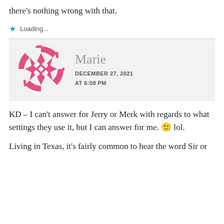there's nothing wrong with that.
Loading...
[Figure (illustration): Pink decorative circular mandala/quilt-pattern avatar for user Marie]
Marie
DECEMBER 27, 2021
AT 6:08 PM
KD – I can't answer for Jerry or Merk with regards to what settings they use it, but I can answer for me. 🙂 lol.
Living in Texas, it's fairly common to hear the word Sir or